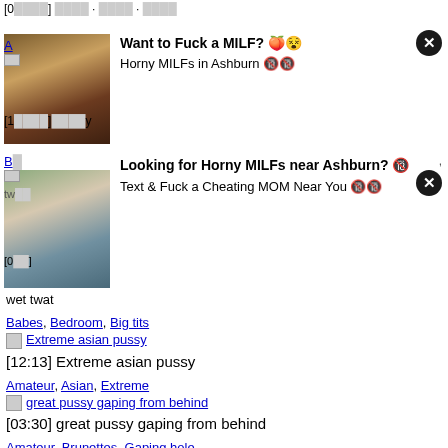[0...] ... · ... · ...
A...
[Figure (photo): Ad image of a woman in a black bikini top with pearl necklace]
Want to Fuck a MILF? 🍑😵
Horny MILFs in Ashburn 🔞🔞
[1...] ...y
B...
[Figure (photo): Ad image of a woman in jeans sitting in a green chair]
Looking for Horny MILFs near Ashburn? 🔞
Text & Fuck a Cheating MOM Near You 🔞🔞
[0...] ...
wet twat
Babes, Bedroom, Big tits
Extreme asian pussy
[12:13] Extreme asian pussy
Amateur, Asian, Extreme
great pussy gaping from behind
[03:30] great pussy gaping from behind
Amateur, Brunettes, Gaping hole